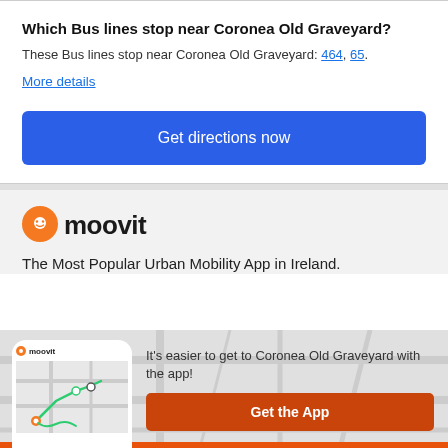Which Bus lines stop near Coronea Old Graveyard?
These Bus lines stop near Coronea Old Graveyard: 464, 65.
More details
Get directions now
[Figure (logo): Moovit logo with orange pin icon and wordmark]
The Most Popular Urban Mobility App in Ireland.
[Figure (screenshot): Phone mockup showing Moovit app with map and route]
It's easier to get to Coronea Old Graveyard with the app!
Get the App